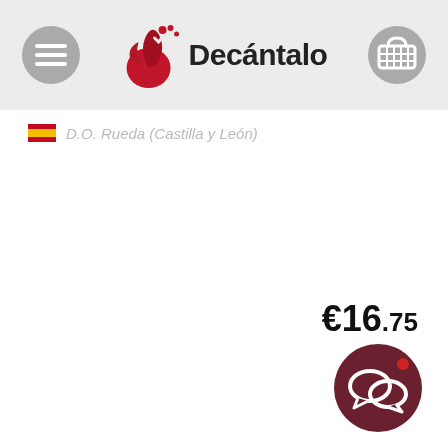Decántalo
D.O. Rueda (Castilla y León)
€16.75